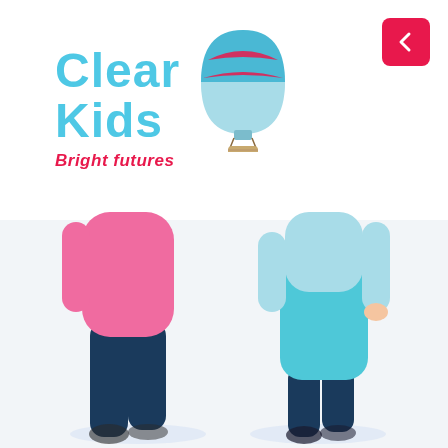[Figure (logo): Clear Kids Bright futures logo with hot air balloon illustration]
[Figure (illustration): Two illustrated figures (adults, cropped at shoulders): one in pink top and dark trousers on left, one in teal dress/apron and light blue long-sleeve top on right, both standing on light blue shadow ellipses]
[Figure (other): Pink/red square back navigation button with left chevron arrow, top right corner]